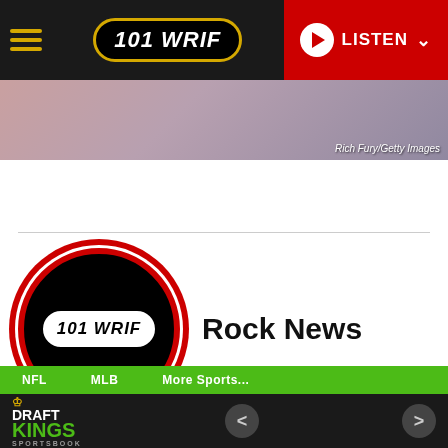101 WRIF — LISTEN
[Figure (photo): Blurred background photo strip with photo credit 'Rich Fury/Getty Images']
[Figure (logo): 101 WRIF station logo — black circle with red border, white oval badge with '101 WRIF' text, alongside 'Rock News' heading]
Rock News
Home
About
Articles
NFL   MLB   More Sports...   DraftKings Sportsbook